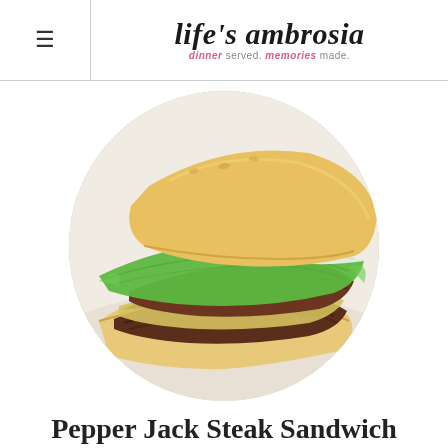≡  life's ambrosia  dinner served. memories made.
[Figure (photo): Circular cropped close-up photo of a Pepper Jack Steak Sandwich on a white plate, showing toasted bun, dark sliced steak, melted pepper jack cheese, green leaf lettuce, and a creamy white sauce.]
Pepper Jack Steak Sandwich